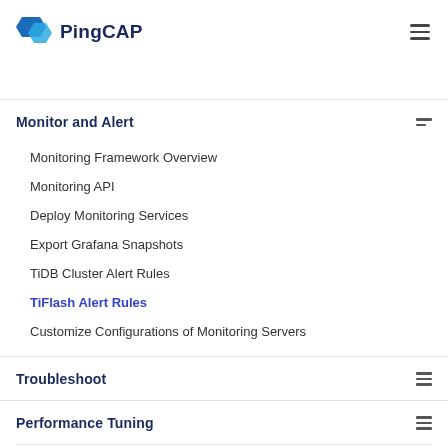PingCAP
Monitor and Alert
Monitoring Framework Overview
Monitoring API
Deploy Monitoring Services
Export Grafana Snapshots
TiDB Cluster Alert Rules
TiFlash Alert Rules
Customize Configurations of Monitoring Servers
Troubleshoot
Performance Tuning